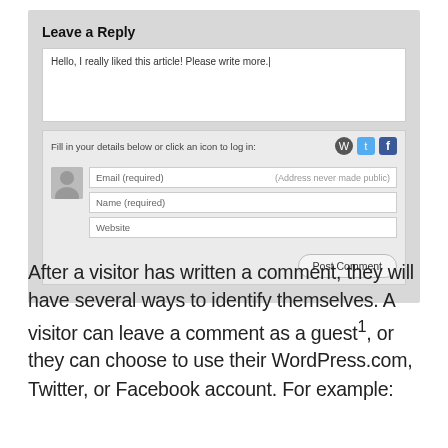[Figure (screenshot): Screenshot of a WordPress 'Leave a Reply' comment form with a text area containing 'Hello, I really liked this article! Please write more.', login icon options (WordPress, Twitter, Facebook), and input fields for Email (required), Name (required), and Website, plus a Post Comment button.]
After a visitor has written a comment, they will have several ways to identify themselves. A visitor can leave a comment as a guest¹, or they can choose to use their WordPress.com, Twitter, or Facebook account. For example: